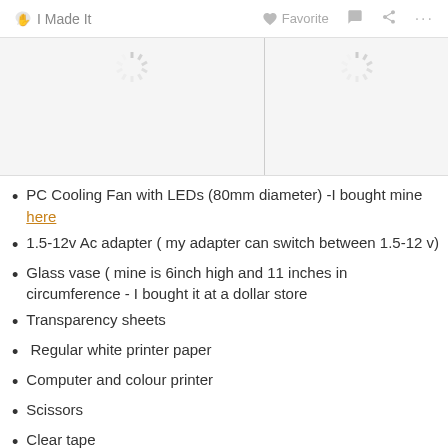I Made It  Favorite  [comment]  [share]  ...
[Figure (photo): Two loading spinner placeholders side by side on light gray background]
PC Cooling Fan with LEDs (80mm diameter) -I bought mine here
1.5-12v Ac adapter ( my adapter can switch between 1.5-12 v)
Glass vase ( mine is 6inch high and 11 inches in circumference - I bought it at a dollar store
Transparency sheets
Regular white printer paper
Computer and colour printer
Scissors
Clear tape